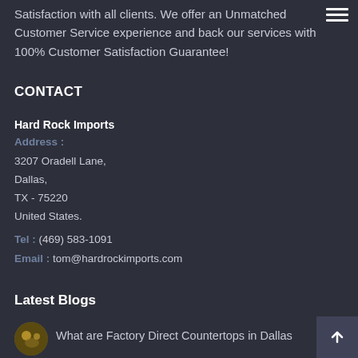Satisfaction with all clients. We offer an Unmatched Customer Service experience and back our services with 100% Customer Satisfaction Guarantee!
CONTACT
Hard Rock Imports
Address : 3207 Oradell Lane, Dallas, TX - 75220 United States.
Tel : (469) 583-1091
Email : tom@hardrockimports.com
Latest Blogs
[Figure (photo): Circular thumbnail image for blog post]
What are Factory Direct Countertops in Dallas